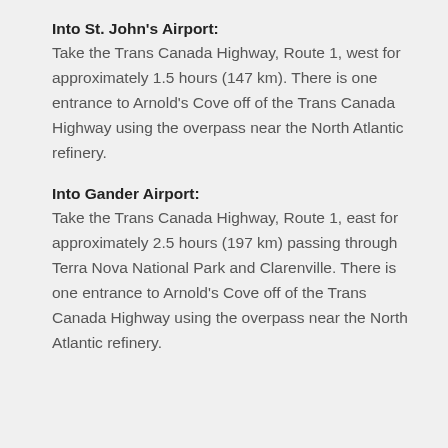Into St. John's Airport:
Take the Trans Canada Highway, Route 1, west for approximately 1.5 hours (147 km). There is one entrance to Arnold's Cove off of the Trans Canada Highway using the overpass near the North Atlantic refinery.
Into Gander Airport:
Take the Trans Canada Highway, Route 1, east for approximately 2.5 hours (197 km) passing through Terra Nova National Park and Clarenville. There is one entrance to Arnold's Cove off of the Trans Canada Highway using the overpass near the North Atlantic refinery.